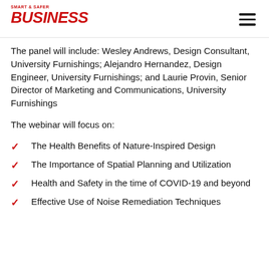BUSINESS
The panel will include: Wesley Andrews, Design Consultant, University Furnishings; Alejandro Hernandez, Design Engineer, University Furnishings; and Laurie Provin, Senior Director of Marketing and Communications, University Furnishings
The webinar will focus on:
The Health Benefits of Nature-Inspired Design
The Importance of Spatial Planning and Utilization
Health and Safety in the time of COVID-19 and beyond
Effective Use of Noise Remediation Techniques